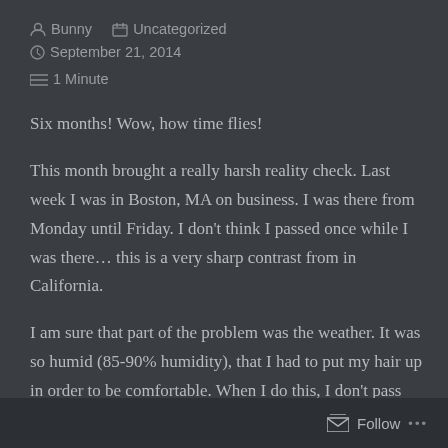Bunny   Uncategorized   September 21, 2014   1 Minute
Six months! Wow, how time flies!
This month brought a really harsh reality check. Last week I was in Boston, MA on business. I was there from Monday until Friday. I don't think I passed once while I was there… this is a very sharp contrast from in California.
I am sure that part of the problem was the weather. It was so humid (85-90% humidity), that I had to put my hair up in order to be comfortable. When I do this, I don't pass very well. I have great hair, but when it's up
Follow